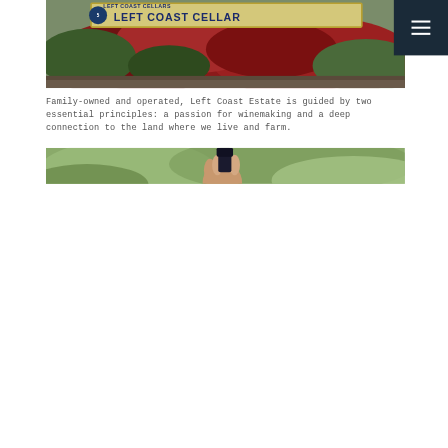[Figure (photo): Outdoor sign reading 'LEFT COAST CELLARS' surrounded by red and green foliage and vegetation]
[Figure (photo): Navigation menu icon (hamburger menu) on dark navy background in upper right corner]
Family-owned and operated, Left Coast Estate is guided by two essential principles: a passion for winemaking and a deep connection to the land where we live and farm.
[Figure (photo): Close-up of a hand holding the neck of a wine bottle outdoors with green foliage in background]